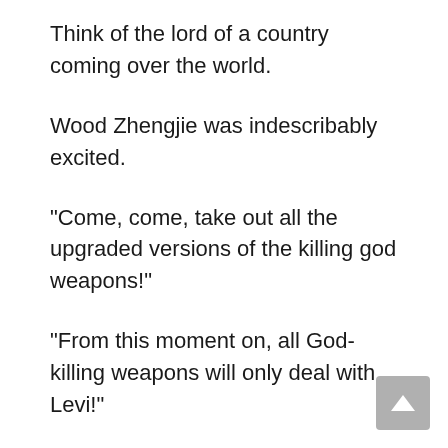Think of the lord of a country coming over the world.
Wood Zhengjie was indescribably excited.
“Come, come, take out all the upgraded versions of the killing god weapons!”
“From this moment on, all God-killing weapons will only deal with Levi!”
Wood Zhengjie began to deploy.
Put all the weapons of killing gods.
“In order to increase the chance of killing Levi, you need to consume Levi to a great extent!”